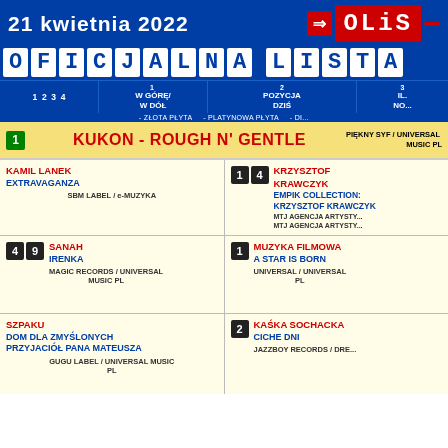21 kwietnia 2022 | OLiS
OFICJALNA LISTA
| 1 2 3 4 | 1 W GÓRĘ/W DÓŁ | 2 POZYCJA DZIŚ | 3 IL. NO... |
| --- | --- | --- | --- |
| KUKON - ROUGH N' GENTLE | 1 (new) |  | PIĘKNY SYF / UNIVERSAL MUSIC PL |
| KAMIL LANEK / EXTRAVAGANZA / SBM LABEL / e-MUZYKA |  | 1 4 / KRZYSZTOF KRAWCZYK / EMPIK COLLECTION: KRZYSZTOF KRAWCZYK / MTJ AGENCJA ARTYSTYCZNA |  |
| 49 / SANAH / IRENKA / MAGIC RECORDS / UNIVERSAL MUSIC PL |  | 1 / MUZYKA FILMOWA / A STAR IS BORN / UNIVERSAL / UNIVERSAL PL |  |
| SZPAKU / DOM DLA ZMYŚLONYCH PRZYJACIÓŁ PANA MATEUSZA / GUGU LABEL / UNIVERSAL MUSIC PL |  | 2 / KAŚKA SOCHACKA / CICHE DNI / JAZZBOY RECORDS / DRE... |  |